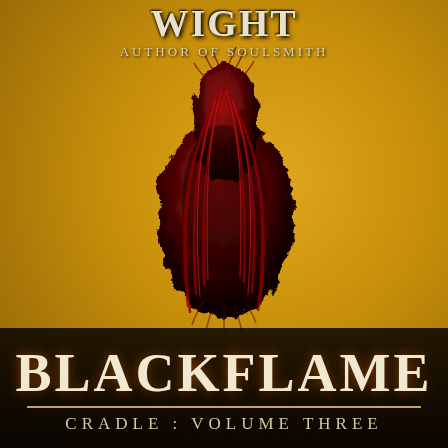WIGHT — AUTHOR OF SOULSMITH
[Figure (illustration): A dark red and black creature or object resembling a flame or organic mass, teardrop/vase shaped, set against a golden-yellow textured background]
BLACKFLAME
CRADLE : VOLUME THREE